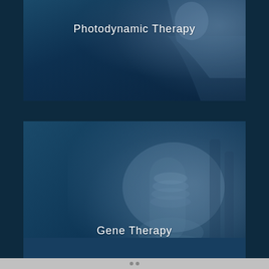[Figure (photo): Blue-toned card with person silhouette in background, labeled 'Photodynamic Therapy']
Photodynamic Therapy
[Figure (photo): Blue-toned card with microscope image in background, labeled 'Gene Therapy']
Gene Therapy